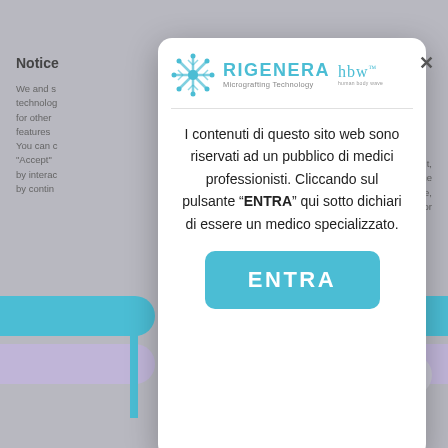Notice
We and s... technolog... for other features... You can c... "Accept" by interac... by contin...
[Figure (screenshot): Modal dialog on Rigenera Micrografting Technology website with logo (RIGENERA Micrografting Technology and hbw human body wave), Italian text notice for medical professionals, and ENTRA button]
I contenuti di questo sito web sono riservati ad un pubblico di medici professionisti. Cliccando sul pulsante “ENTRA” qui sotto dichiari di essere un medico specializzato.
ENTRA